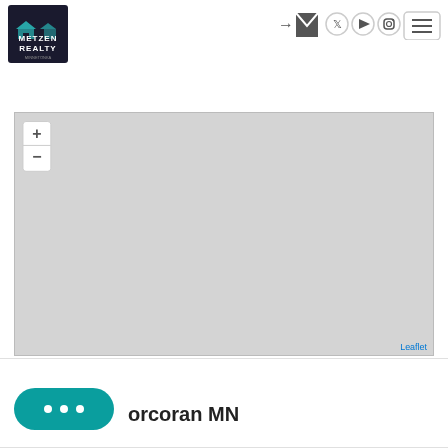[Figure (logo): Metzen Realty logo — dark background with house icon and text METZEN REALTY]
[Figure (infographic): Top navigation icons: login, email, twitter, youtube, instagram, hamburger menu]
[Figure (map): Leaflet map placeholder showing a gray map area with zoom controls and Leaflet attribution]
[Figure (illustration): Teal chat bubble widget with three dots]
orcoran MN